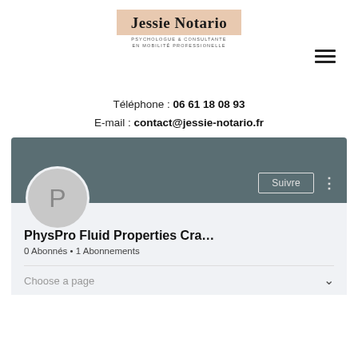[Figure (logo): Jessie Notario logo with salmon/peach background box, bold serif name, subtitle 'PSYCHOLOGUE & CONSULTANTE EN MOBILITÉ PROFESSIONNELLE']
[Figure (other): Hamburger menu icon (three horizontal lines) in top right corner]
Téléphone : 06 61 18 08 93
E-mail : contact@jessie-notario.fr
[Figure (screenshot): LinkedIn-style profile card with dark teal banner, circular avatar with letter P, Suivre button, profile name 'PhysPro Fluid Properties Cra...', stats '0 Abonnés • 1 Abonnements', and 'Choose a page' dropdown row]